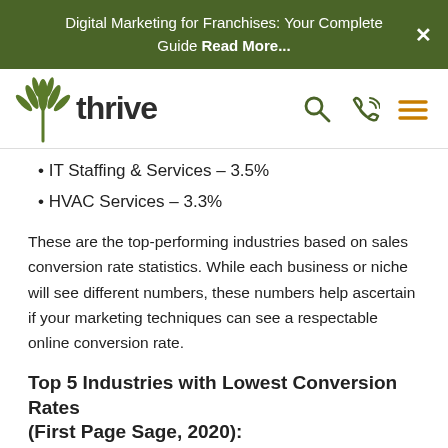Digital Marketing for Franchises: Your Complete Guide Read More...
[Figure (logo): Thrive agency logo with green leaf/plant icon and bold lowercase 'thrive' wordmark]
IT Staffing & Services – 3.5%
HVAC Services – 3.3%
These are the top-performing industries based on sales conversion rate statistics. While each business or niche will see different numbers, these numbers help ascertain if your marketing techniques can see a respectable online conversion rate.
Top 5 Industries with Lowest Conversion Rates (First Page Save, 2020):